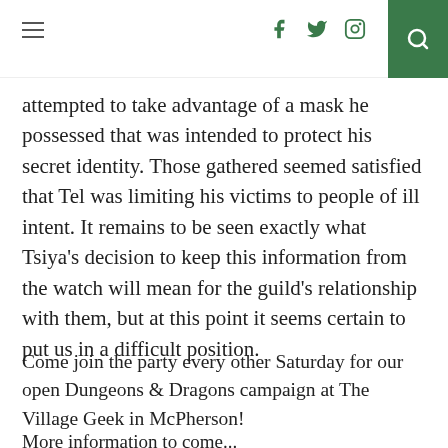≡  [social icons: facebook, twitter, instagram]  [search]
attempted to take advantage of a mask he possessed that was intended to protect his secret identity. Those gathered seemed satisfied that Tel was limiting his victims to people of ill intent. It remains to be seen exactly what Tsiya's decision to keep this information from the watch will mean for the guild's relationship with them, but at this point it seems certain to put us in a difficult position.
Come join the party every other Saturday for our open Dungeons & Dragons campaign at The Village Geek in McPherson!
More information to come...